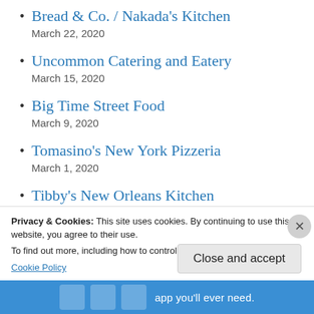Bread & Co. / Nakada's Kitchen
March 22, 2020
Uncommon Catering and Eatery
March 15, 2020
Big Time Street Food
March 9, 2020
Tomasino's New York Pizzeria
March 1, 2020
Tibby's New Orleans Kitchen
February 22, 2020
Domu
Privacy & Cookies: This site uses cookies. By continuing to use this website, you agree to their use.
To find out more, including how to control cookies, see here:
Cookie Policy
Close and accept
app you'll ever need.